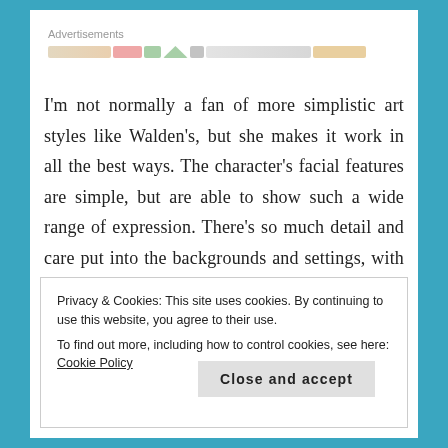[Figure (other): Advertisements banner with colorful blurred ad strip]
I'm not normally a fan of more simplistic art styles like Walden's, but she makes it work in all the best ways. The character's facial features are simple, but are able to show such a wide range of expression. There's so much detail and care put into the backgrounds and settings, with carefully picked
Privacy & Cookies: This site uses cookies. By continuing to use this website, you agree to their use.
To find out more, including how to control cookies, see here: Cookie Policy